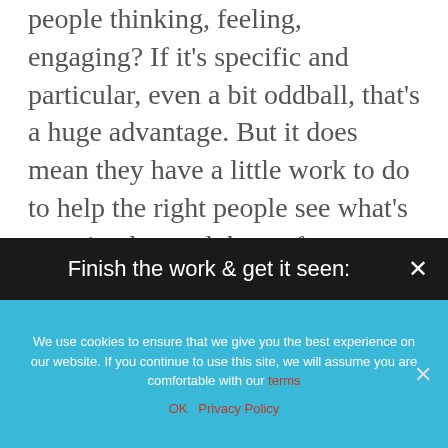people thinking, feeling, engaging? If it's specific and particular, even a bit oddball, that's a huge advantage. But it does mean they have a little work to do to help the right people see what's amazing beyond the surface.
Pinpointing what will light up the audience about your work without undermining your own creative integrity requires a three-part process that is rooted in what matters most to
Finish the work & get it seen:
We use cookies to ensure that we give you the best experience on our website. If you continue to use this site, we will assume you are comfortable with our terms
OK   Privacy Policy